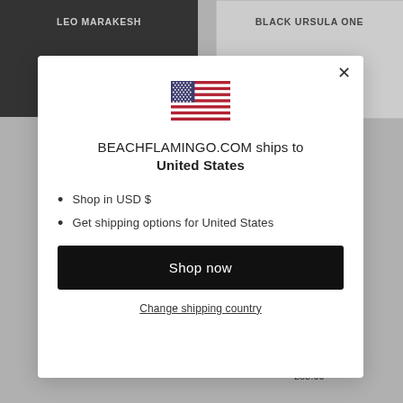[Figure (screenshot): Background of a retail website (beachflamingo.com) showing product listings in greyscale behind a modal dialog. Visible text includes 'LEO MARAKESH', 'BLACK URSULA ONE', 'PIECE', 'WEWOREWHAT', 'HUNZA G', '£85.00'.]
[Figure (illustration): United States flag icon shown inside the modal dialog]
BEACHFLAMINGO.COM ships to United States
Shop in USD $
Get shipping options for United States
Shop now
Change shipping country